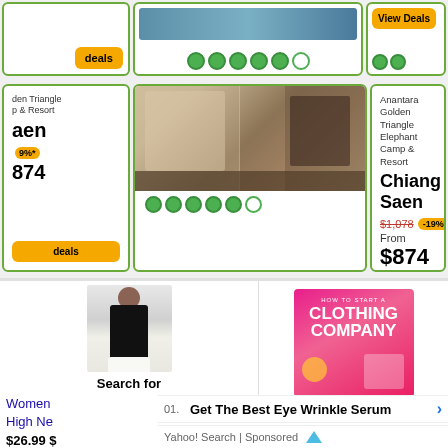[Figure (screenshot): Top row of hotel listing cards (partial) with View Deals buttons and TripAdvisor dot ratings]
[Figure (photo): Hotel room photo - couple sitting on bed with draped curtains]
Anantara Golden Triangle Elephant Camp & Resort
Chiang Saen
$1,078  -19%*  From $874
[Figure (other): View Deals button - yellow/orange]
[Figure (photo): Fashion photo - woman in black tank top and white pants]
Search for
[Figure (photo): Pink advertisement: HOW TO START A CLOTHING COMPANY with shopping bag illustration]
Women's... High Ne...
01. Get The Best Eye Wrinkle Serum
02. Custom Digital Display Signage
$26.99 $...
Yahoo! Search | Sponsored